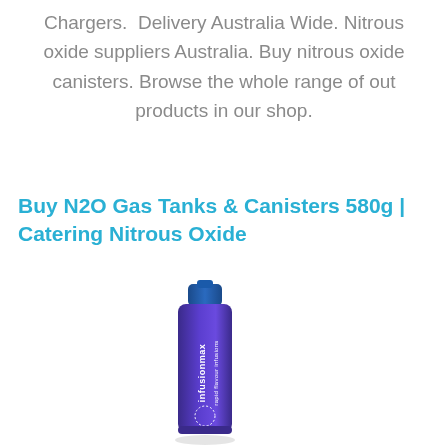Chargers.  Delivery Australia Wide. Nitrous oxide suppliers Australia. Buy nitrous oxide canisters. Browse the whole range of out products in our shop.
Buy N2O Gas Tanks & Canisters 580g | Catering Nitrous Oxide
[Figure (photo): A blue and purple cylindrical canister labeled 'infusionmax rapid flavour infusions', standing upright with a slight shadow at the base.]